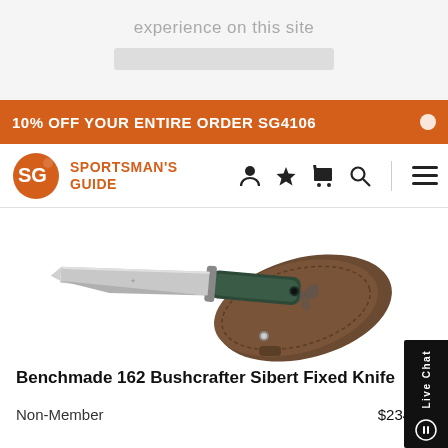experience on this site
10% OFF YOUR ENTIRE ORDER SG4106
[Figure (logo): Sportsman's Guide logo with SG icon and deer head]
SPORTSMAN'S GUIDE
[Figure (photo): Benchmade 162 Bushcrafter Sibert Fixed Knife with green handle and brown leather sheath]
Benchmade 162 Bushcrafter Sibert Fixed Knife
Non-Member $234.00